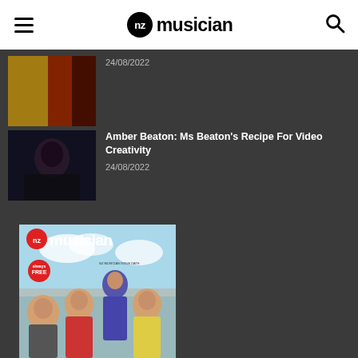nz musician
24/08/2022
Amber Beaton: Ms Beaton's Recipe For Video Creativity
24/08/2022
[Figure (photo): NZ Musician magazine cover featuring a group of young musicians in casual clothing against a blue sky background, with 'nz musician' logo and 'always free' badge]